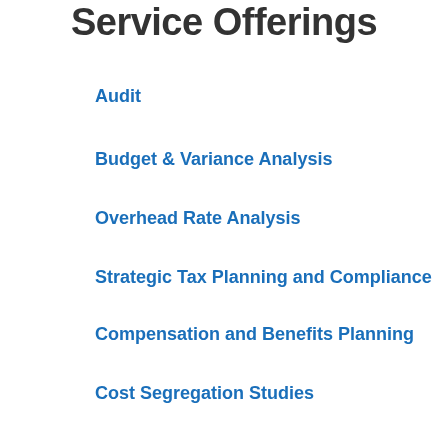Service Offerings
Audit
Budget & Variance Analysis
Overhead Rate Analysis
Strategic Tax Planning and Compliance
Compensation and Benefits Planning
Cost Segregation Studies